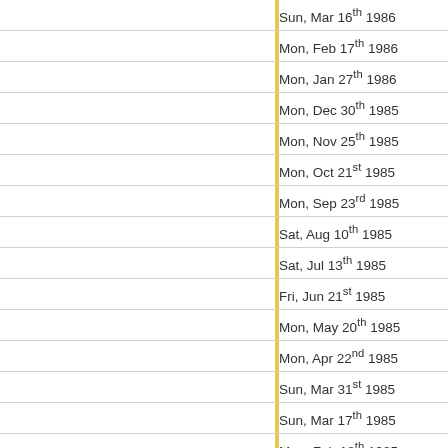| Date | Organization |
| --- | --- |
| Sun, Mar 16th 1986 | WWF |
| Mon, Feb 17th 1986 | WWF |
| Mon, Jan 27th 1986 | WWF |
| Mon, Dec 30th 1985 | WWF |
| Mon, Nov 25th 1985 | WWF |
| Mon, Oct 21st 1985 | WWF |
| Mon, Sep 23rd 1985 | WWF |
| Sat, Aug 10th 1985 | WWF |
| Sat, Jul 13th 1985 | WWF |
| Fri, Jun 21st 1985 | WWF |
| Mon, May 20th 1985 | WWF |
| Mon, Apr 22nd 1985 | WWF |
| Sun, Mar 31st 1985 | WWF |
| Sun, Mar 17th 1985 | WWF |
| Mon, Feb 18th 1985 | WWF |